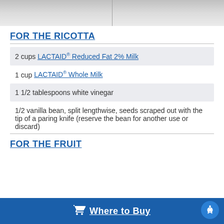[Figure (photo): Top portion of a photo showing tiles or a flat surface with a vertical line in the center, fading out at the bottom]
FOR THE RICOTTA
2 cups LACTAID® Reduced Fat 2% Milk
1 cup LACTAID® Whole Milk
1 1/2 tablespoons white vinegar
1/2 vanilla bean, split lengthwise, seeds scraped out with the tip of a paring knife (reserve the bean for another use or discard)
FOR THE FRUIT
Where to Buy